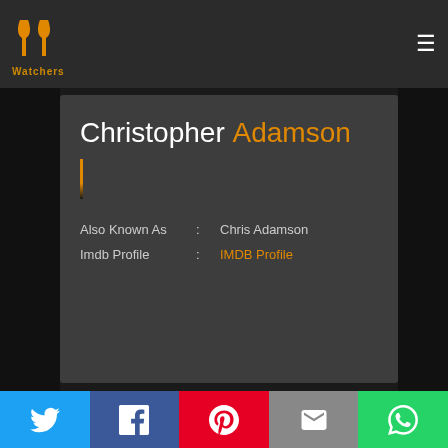PP Watchers logo and navigation
Christopher Adamson
Also Known As : Chris Adamson
Imdb Profile : IMDB Profile
Social share bar: Twitter, Facebook, Pinterest, Email, WhatsApp